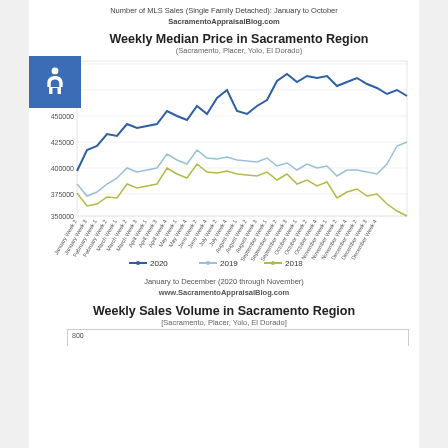Number of MLS Sales (Single Family Detached): January to October
SacramentoAppraisalBlog.com
[Figure (line-chart): Three line series showing weekly median home prices in Sacramento region 2018-2020, ranging from approximately 370000 to 490000]
January to December (2020 through November)
www.SacramentoAppraisalBlog.com
Weekly Sales Volume in Sacramento Region
[Sacramento, Placer, Yolo, El Dorado]